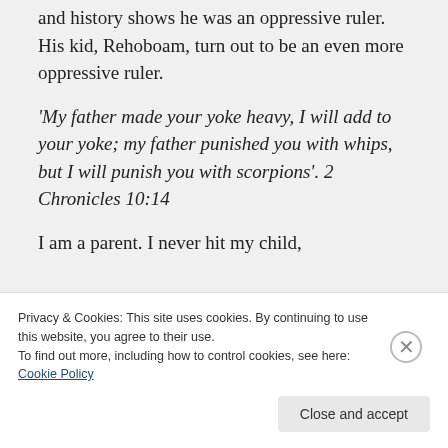and history shows he was an oppressive ruler. His kid, Rehoboam, turn out to be an even more oppressive ruler.
‘My father made your yoke heavy, I will add to your yoke; my father punished you with whips, but I will punish you with scorpions’. 2 Chronicles 10:14
I am a parent. I never hit my child,
Privacy & Cookies: This site uses cookies. By continuing to use this website, you agree to their use.
To find out more, including how to control cookies, see here: Cookie Policy